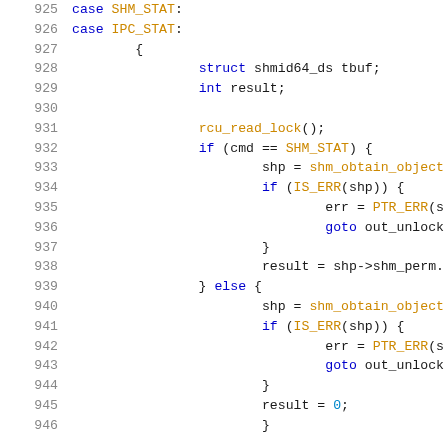[Figure (screenshot): Source code listing in C showing lines 925-946, a switch-case block handling SHM_STAT and IPC_STAT cases with rcu_read_lock, shm_obtain_object, IS_ERR, PTR_ERR, and goto out_unlock calls.]